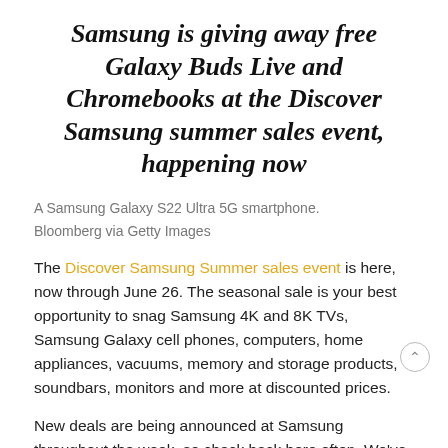Samsung is giving away free Galaxy Buds Live and Chromebooks at the Discover Samsung summer sales event, happening now
A Samsung Galaxy S22 Ultra 5G smartphone.
Bloomberg via Getty Images
The Discover Samsung Summer sales event is here, now through June 26. The seasonal sale is your best opportunity to snag Samsung 4K and 8K TVs, Samsung Galaxy cell phones, computers, home appliances, vacuums, memory and storage products, soundbars, monitors and more at discounted prices.
New deals are being announced at Samsung throughout the week, so check back here often. We've compiled the best deals on the trendiest Samsung tech that you can get